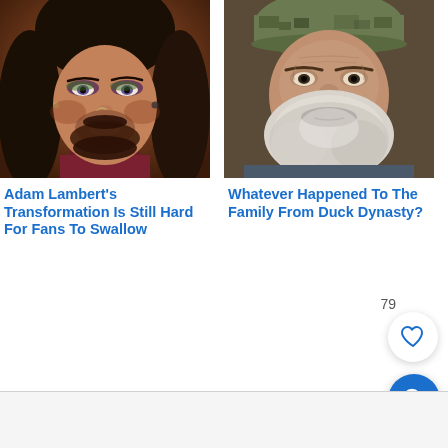[Figure (photo): Close-up portrait photo of Adam Lambert with long dark hair, styled beard, nose ring, and dramatic eye makeup]
[Figure (photo): Close-up portrait photo of an older bearded man with long gray beard and camouflage cap, from Duck Dynasty]
Adam Lambert's Transformation Is Still Hard For Fans To Swallow
Whatever Happened To The Family From Duck Dynasty?
79